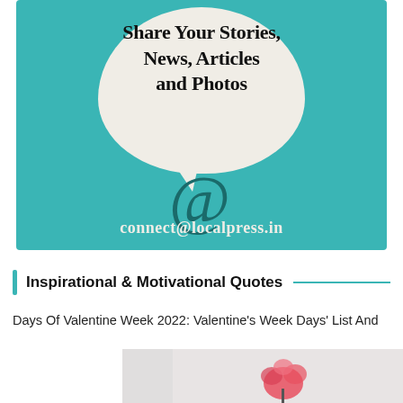[Figure (illustration): Teal background banner with a speech bubble containing bold serif text 'Share Your Stories, News, Articles and Photos', an @ symbol below the bubble, and the email connect@localpress.in at the bottom in a beige/cream serif font]
Inspirational & Motivational Quotes
Days Of Valentine Week 2022: Valentine's Week Days' List And
[Figure (photo): Partially visible photo of a red flower (rose) with a share/forward icon button overlay in the bottom-left corner]